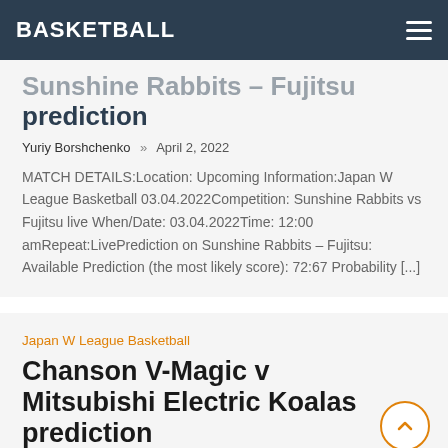BASKETBALL
Sunshine Rabbits – Fujitsu prediction
Yuriy Borshchenko  »  April 2, 2022
MATCH DETAILS:Location: Upcoming Information:Japan W League Basketball 03.04.2022Competition: Sunshine Rabbits vs Fujitsu live When/Date: 03.04.2022Time: 12:00 amRepeat:LivePrediction on Sunshine Rabbits – Fujitsu: Available Prediction (the most likely score): 72:67 Probability [...]
Japan W League Basketball
Chanson V-Magic v Mitsubishi Electric Koalas prediction